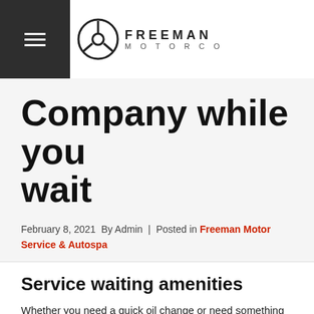Freeman Motor Co
Company while you wait
February 8, 2021  By Admin  |  Posted in Freeman Motor Service & Autospa
Service waiting amenities
Whether you need a quick oil change or need something more, at Freeman Motor Company we offer the best waiting service around. While you are waiting for your service to be done, we have a few amenities to help you and keep your time pleasant. Keep reading to learn more about our service waiting amenities.
Read the rest of this entry